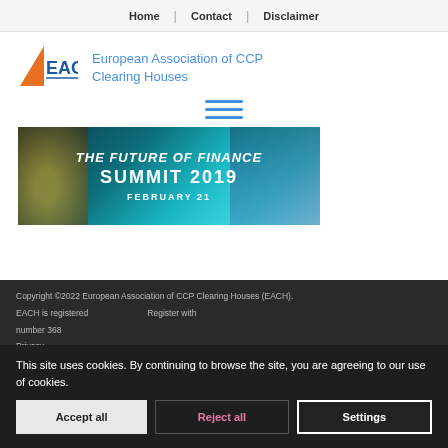Home | Contact | Disclaimer
[Figure (logo): EACH logo with orange triangle and blue EACH text]
European Association of CCP Clearing Houses
[Figure (illustration): Hamburger menu icon with three horizontal blue lines]
[Figure (photo): The Future of Finance Summit 2019, February 21 banner with teal/bitcoin background]
Copyright ©2022 European Association of CCP Clearing Houses (EACH). EACH is registered ... Register with number 368... Privacy
This site uses cookies. By continuing to browse the site, you are agreeing to our use of cookies.
Accept all  Reject all  Settings